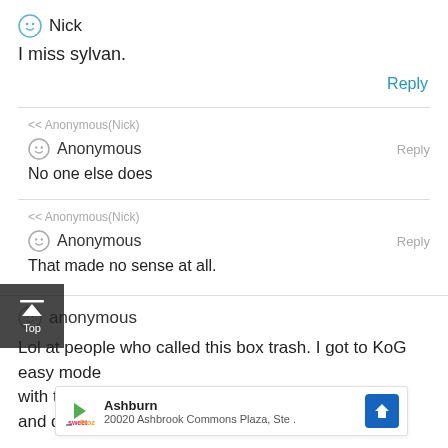Nick
I miss sylvan.
Reply
<< Anonymous(Nick)
Anonymous
Reply
No one else does
<< Anonymous(Nick)
Anonymous
Reply
That made no sense at all.
anonymous
Lol at people who called this box trash. I got to KoG easy mode with this                                                     heap and disc
Ashburn
20020 Ashbrook Commons Plaza, Ste.